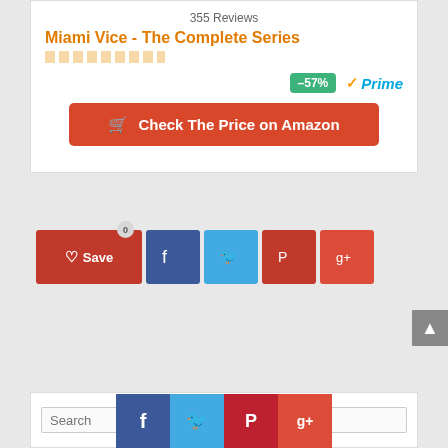355 Reviews
Miami Vice - The Complete Series
[Figure (infographic): Discount badge showing -57% in green, Amazon Prime logo in blue and orange]
[Figure (infographic): Red button: Check The Price on Amazon with cart icon]
[Figure (infographic): Social share bar with Save (heart), Facebook, Twitter, Pinterest, Google+ buttons]
[Figure (infographic): Back to top arrow button (grey)]
[Figure (screenshot): Search box with placeholder text 'Search']
[Figure (infographic): Bottom social share icons: Facebook, Twitter, Pinterest, Google+]